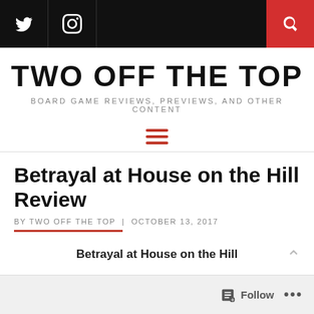TWO OFF THE TOP | BOARD GAME REVIEWS, PREVIEWS, AND OTHER CONTENT
TWO OFF THE TOP
BOARD GAME REVIEWS, PREVIEWS, AND OTHER CONTENT
Betrayal at House on the Hill Review
BY TWO OFF THE TOP | OCTOBER 13, 2017
Betrayal at House on the Hill
Players: 3 – 6